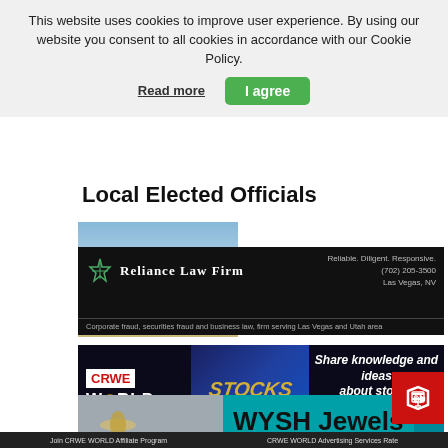This website uses cookies to improve user experience. By using our website you consent to all cookies in accordance with our Cookie Policy.
Read more
I agree
Local Elected Officials
[Figure (photo): John Elway Harley-Davidson advertisement with motorcycle and Harley-Davidson logo, text reads JOHN ELWAY HARLEY-DAVIDSON and FURTHER FAST]
[Figure (photo): Reliance Law Firm advertisement on black background. Text: Reliable. Diligent. Responsive. (702) 205-3500. Las Vegas, NV. Corporate fraud, securities fraud and business law, firm serving Las Vegas and Utah area.]
[Figure (photo): CRWE World Stocks advertisement on dark background. Text: CRWE WORLD STOCKS - Share knowledge and ideas about stocks]
[Figure (photo): WYSH Jewels advertisement on teal background with grey and teal sections]
Join CRWE WORLD Affiliate Program
CRWE WORLD Advertising Services Rate